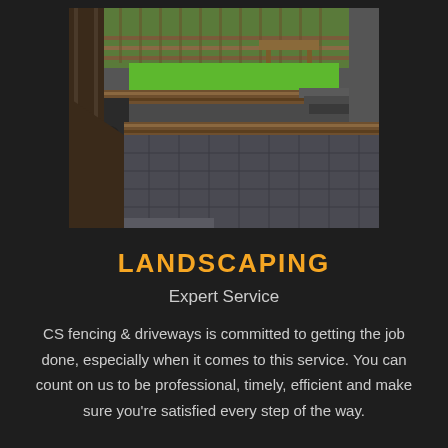[Figure (photo): Outdoor landscaping photo showing a multi-level garden with wooden sleeper raised beds, a bright green artificial grass area, stone steps, and a decorative stamped concrete or stone-effect patio in grey tones.]
LANDSCAPING
Expert Service
CS fencing & driveways is committed to getting the job done, especially when it comes to this service. You can count on us to be professional, timely, efficient and make sure you're satisfied every step of the way.